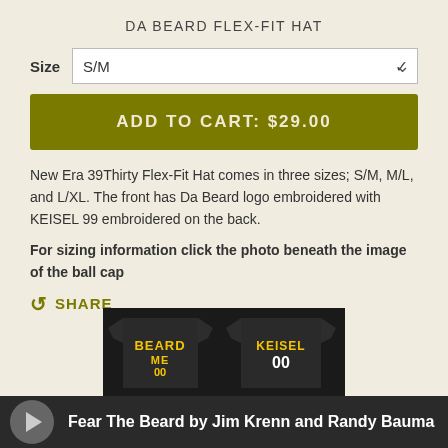DA BEARD FLEX-FIT HAT
Size S/M (dropdown)
ADD TO CART: $29.00
New Era 39Thirty Flex-Fit Hat comes in three sizes; S/M, M/L, and L/XL. The front has Da Beard logo embroidered with KEISEL 99 embroidered on the back.
For sizing information click the photo beneath the image of the ball cap
SHARE
[Figure (photo): Two black football jerseys showing front and back: front says BEARD ME 00, back says KEISEL 00]
Fear The Beard by Jim Krenn and Randy Bauman